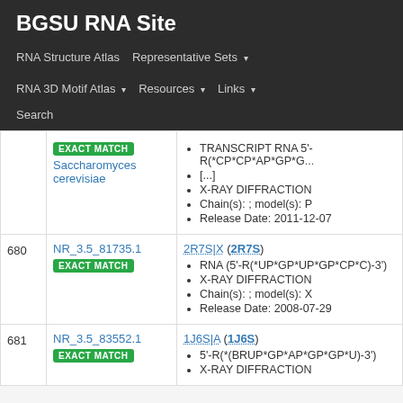BGSU RNA Site
RNA Structure Atlas | Representative Sets | RNA 3D Motif Atlas | Resources | Links | Search
| # | ID | Description |
| --- | --- | --- |
|  | EXACT MATCH
Saccharomyces cerevisiae | TRANSCRIPT RNA 5'-R(*CP*CP*AP*GP*G...[...]
X-RAY DIFFRACTION
Chain(s): ; model(s): P
Release Date: 2011-12-07 |
| 680 | NR_3.5_81735.1
EXACT MATCH | 2R7S|X (2R7S)
RNA (5'-R(*UP*GP*UP*GP*CP*C)-3')
X-RAY DIFFRACTION
Chain(s): ; model(s): X
Release Date: 2008-07-29 |
| 681 | NR_3.5_83552.1
EXACT MATCH | 1J6S|A (1J6S)
5'-R(*(BRUP*GP*AP*GP*GP*U)-3')
X-RAY DIFFRACTION |